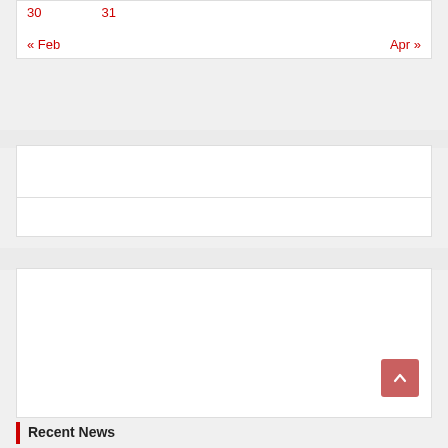30   31
« Feb   Apr »
[Figure (other): White content box with horizontal divider line]
[Figure (other): White content box with scroll-to-top button (chevron up) in bottom right corner]
Recent News